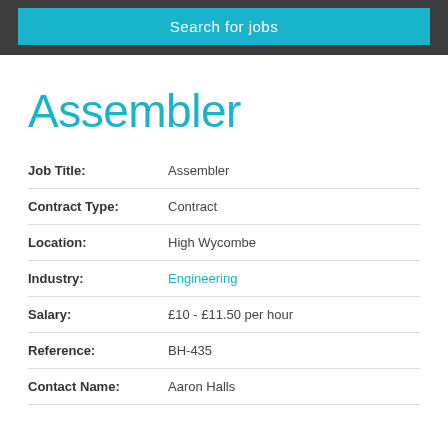Search for jobs
Assembler
| Field | Value |
| --- | --- |
| Job Title: | Assembler |
| Contract Type: | Contract |
| Location: | High Wycombe |
| Industry: | Engineering |
| Salary: | £10 - £11.50 per hour |
| Reference: | BH-435 |
| Contact Name: | Aaron Halls |